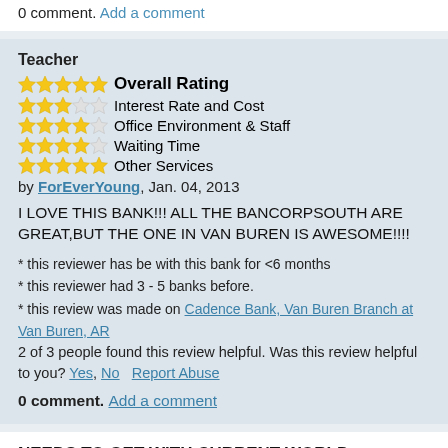0 comment. Add a comment
Teacher
★★★★★ Overall Rating
★★★☆☆ Interest Rate and Cost
★★★★☆ Office Environment & Staff
★★★★☆ Waiting Time
★★★★★ Other Services
by ForEverYoung, Jan. 04, 2013
I LOVE THIS BANK!!! ALL THE BANCORPSOUTH ARE GREAT,BUT THE ONE IN VAN BUREN IS AWESOME!!!!
* this reviewer has be with this bank for <6 months
* this reviewer had 3 - 5 banks before.
* this review was made on Cadence Bank, Van Buren Branch at Van Buren, AR
2 of 3 people found this review helpful. Was this review helpful to you? Yes, No   Report Abuse
0 comment. Add a comment
NEEDS TO GET WITH CURRENT WORLD